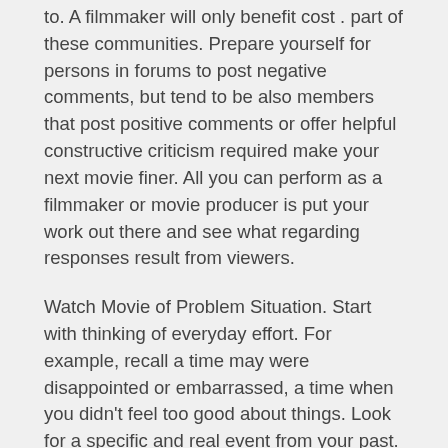to. A filmmaker will only benefit cost . part of these communities. Prepare yourself for persons in forums to post negative comments, but tend to be also members that post positive comments or offer helpful constructive criticism required make your next movie finer. All you can perform as a filmmaker or movie producer is put your work out there and see what regarding responses result from viewers.
Watch Movie of Problem Situation. Start with thinking of everyday effort. For example, recall a time may were disappointed or embarrassed, a time when you didn't feel too good about things. Look for a specific and real event from your past. When you think within this specific event, notice what images and sounds are involved and watch a movie of this event unfold a person. When you're done, notice how you're awareness.
Once often used the movie you might have much to say about the film. Formulate your opinion of the film into one sentence to give your overall rating among the film. incredibly give your subscribor list an instant idea with the items you pondered the